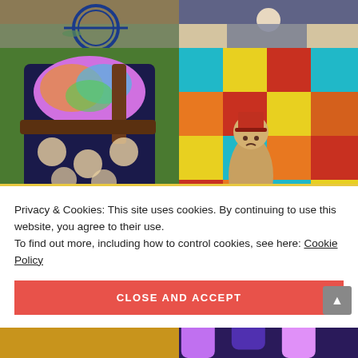[Figure (photo): Top-left photo: child with blue bicycle]
[Figure (photo): Top-right photo: child in blue room]
[Figure (photo): Middle-left photo: person holding a large bag with Baby Yoda / Mandalorian pattern on navy fabric, with tie-dye section on top, leather strap]
[Figure (photo): Middle-right photo: colorful board game with a wooden figurine wearing a fez hat on an orange, teal, yellow, and brown game board]
[Figure (photo): Bottom-left photo: food/baked item (partially visible)]
[Figure (photo): Bottom-right photo: colorful item (partially visible)]
Privacy & Cookies: This site uses cookies. By continuing to use this website, you agree to their use. To find out more, including how to control cookies, see here: Cookie Policy
CLOSE AND ACCEPT